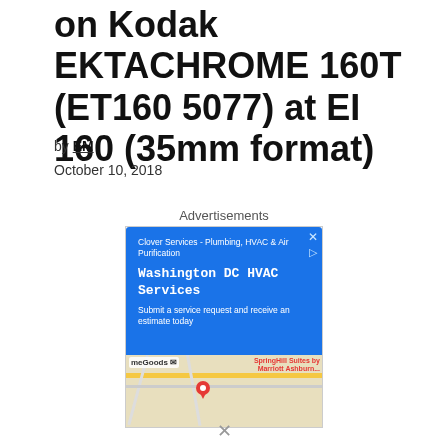on Kodak EKTACHROME 160T (ET160 5077) at EI 160 (35mm format)
by EM
October 10, 2018
Advertisements
[Figure (screenshot): Advertisement showing a Google ad for Clover Services - Plumbing, HVAC & Air Purification with headline Washington DC HVAC Services and a Google Maps view showing SpringHill Suites by Marriott Ashburn below.]